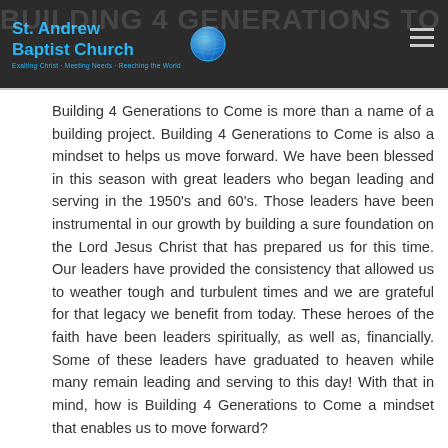St. Andrew Baptist Church — Exalting Christ · Meeting Needs · Reaching the World
Building 4 Generations to Come is more than a name of a building project. Building 4 Generations to Come is also a mindset to helps us move forward. We have been blessed in this season with great leaders who began leading and serving in the 1950's and 60's. Those leaders have been instrumental in our growth by building a sure foundation on the Lord Jesus Christ that has prepared us for this time. Our leaders have provided the consistency that allowed us to weather tough and turbulent times and we are grateful for that legacy we benefit from today. These heroes of the faith have been leaders spiritually, as well as, financially. Some of these leaders have graduated to heaven while many remain leading and serving to this day! With that in mind, how is Building 4 Generations to Come a mindset that enables us to move forward?